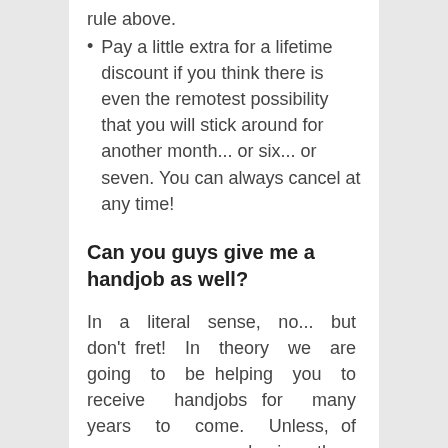rule above.
Pay a little extra for a lifetime discount if you think there is even the remotest possibility that you will stick around for another month... or six... or seven. You can always cancel at any time!
Can you guys give me a handjob as well?
In a literal sense, no... but don't fret! In theory we are going to be helping you to receive handjobs for many years to come. Unless, of course, you are buying these memberships to porn sites just so